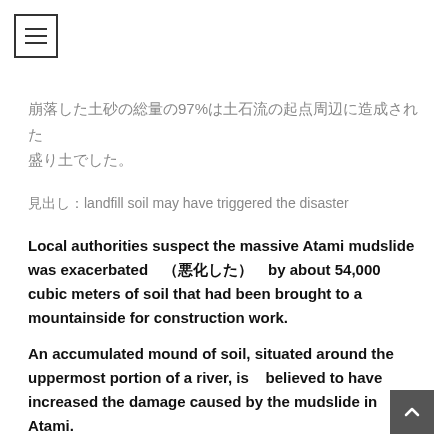[Figure (other): Hamburger menu icon (three horizontal lines in a square border)]
崩落した土砂の総量の97%は土石流の起点周辺に造成された盛り土でした。
見出し：landfill soil may have triggered the disaster
Local authorities suspect the massive Atami mudslide was exacerbated（悪化した）by about 54,000 cubic meters of soil that had been brought to a mountainside for construction work.
An accumulated mound of soil, situated around the uppermost portion of a river, is　 believed to have increased the damage caused by the mudslide in Atami.
[Figure (other): Back to top button with upward arrow chevron on dark grey background]